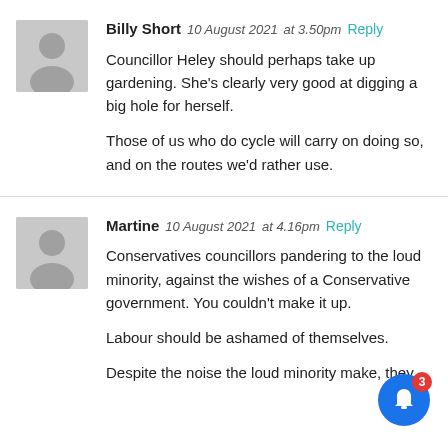[Figure (illustration): Grey avatar silhouette for Billy Short]
Billy Short 10 August 2021 at 3.50pm Reply

Councillor Heley should perhaps take up gardening. She's clearly very good at digging a big hole for herself.

Those of us who do cycle will carry on doing so, and on the routes we'd rather use.
[Figure (illustration): Grey avatar silhouette for Martine]
Martine 10 August 2021 at 4.16pm Reply

Conservatives councillors pandering to the loud minority, against the wishes of a Conservative government. You couldn't make it up.

Labour should be ashamed of themselves.

Despite the noise the loud minority make, they...